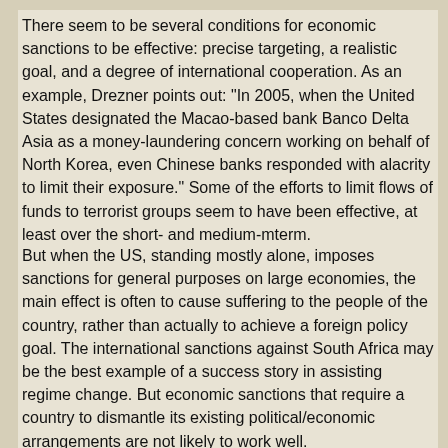There seem to be several conditions for economic sanctions to be effective: precise targeting, a realistic goal, and a degree of international cooperation. As an example, Drezner points out: "In 2005, when the United States designated the Macao-based bank Banco Delta Asia as a money-laundering concern working on behalf of North Korea, even Chinese banks responded with alacrity to limit their exposure." Some of the efforts to limit flows of funds to terrorist groups seem to have been effective, at least over the short- and medium-mterm.
But when the US, standing mostly alone, imposes sanctions for general purposes on large economies, the main effect is often to cause suffering to the people of the country, rather than actually to achieve a foreign policy goal. The international sanctions against South Africa may be the best example of a success story in assisting regime change. But economic sanctions that require a country to dismantle its existing political/economic arrangements are not likely to work well.